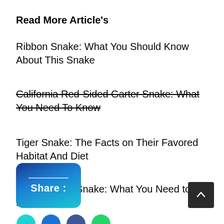Read More Article's
Ribbon Snake: What You Should Know About This Snake
California Red-Sided Garter Snake: What You Need To Know
Tiger Snake: The Facts on Their Favored Habitat And Diet
Texas Brown Snake: What You Need to Know 2021
[Figure (other): Share button with gradient blue background and a white horizontal line above the text 'Share :'. Next to it is a dark grey back-to-top arrow button. Below are partial social media icon circles in cyan, blue, blue, and green.]